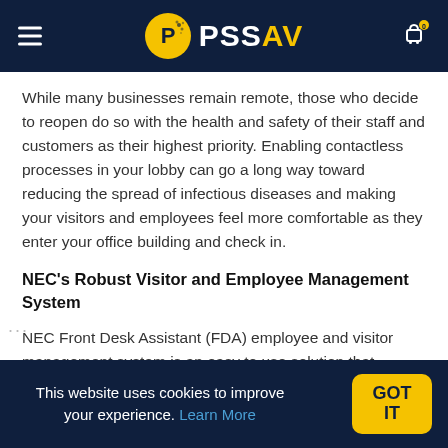PSSAV
While many businesses remain remote, those who decide to reopen do so with the health and safety of their staff and customers as their highest priority. Enabling contactless processes in your lobby can go a long way toward reducing the spread of infectious diseases and making your visitors and employees feel more comfortable as they enter your office building and check in.
NEC's Robust Visitor and Employee Management System
NEC Front Desk Assistant (FDA) employee and visitor management system is an easy to use solution that manages the flow of on-site visitors and employees, from check-in to check-out, helping to create a safe and health-conscious environment for employees and
This website uses cookies to improve your experience. Learn More  GOT IT